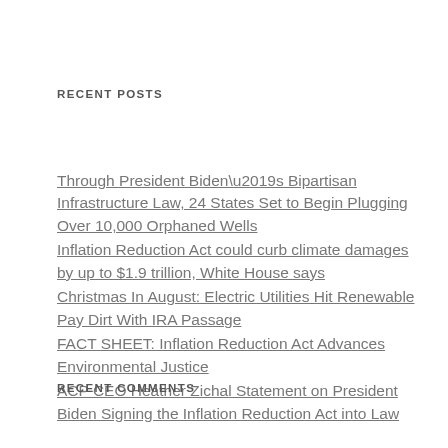RECENT POSTS
Through President Biden’s Bipartisan Infrastructure Law, 24 States Set to Begin Plugging Over 10,000 Orphaned Wells
Inflation Reduction Act could curb climate damages by up to $1.9 trillion, White House says
Christmas In August: Electric Utilities Hit Renewable Pay Dirt With IRA Passage
FACT SHEET: Inflation Reduction Act Advances Environmental Justice
ACP CEO Heather Zichal Statement on President Biden Signing the Inflation Reduction Act into Law
RECENT COMMENTS